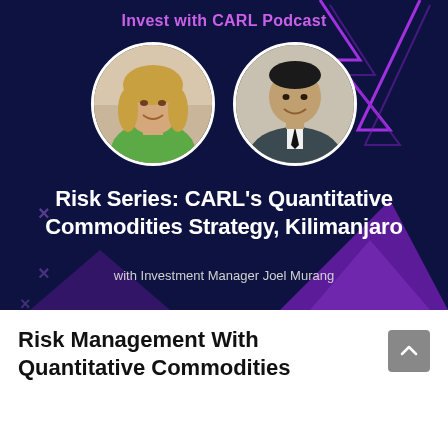Invest with CARL Podcast
[Figure (illustration): Podcast cover image with dark navy background, two circular portrait photos (woman with blonde hair in green top, man in dark suit), purple decorative chevron/zigzag shapes, and bold white text overlay]
Risk Series: CARL's Quantitative Commodities Strategy, Kilimanjaro
with Investment Manager Joel Murang
Risk Management With Quantitative Commodities